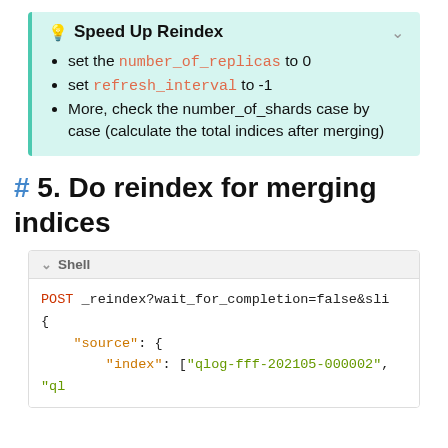Speed Up Reindex
set the number_of_replicas to 0
set refresh_interval to -1
More, check the number_of_shards case by case (calculate the total indices after merging)
# 5. Do reindex for merging indices
[Figure (screenshot): Shell code block showing: POST _reindex?wait_for_completion=false&sli { "source": { "index": ["qlog-fff-202105-000002", "ql]